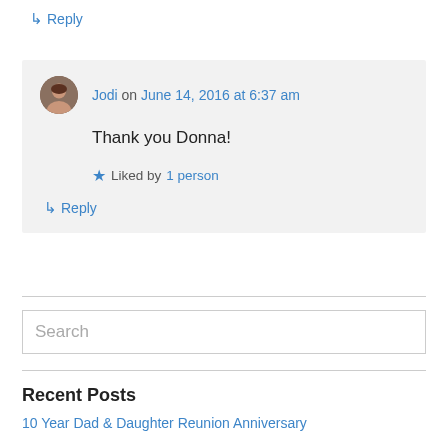↳ Reply
Jodi on June 14, 2016 at 6:37 am
Thank you Donna!
★ Liked by 1 person
↳ Reply
Search
Recent Posts
10 Year Dad & Daughter Reunion Anniversary